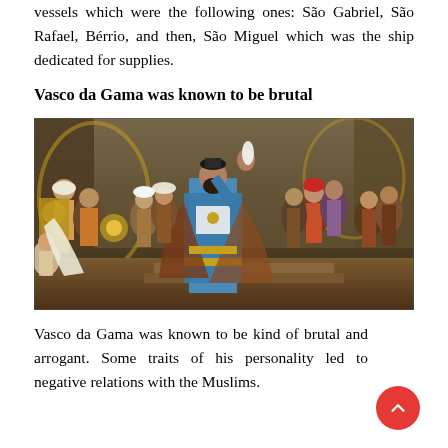vessels which were the following ones: São Gabriel, São Rafael, Bérrio, and then, São Miguel which was the ship dedicated for supplies.
Vasco da Gama was known to be brutal
[Figure (illustration): Historical painting depicting Vasco da Gama in a royal court scene surrounded by many figures in elaborate dress, with da Gama in a blue and gold robe raising his hand.]
Vasco da Gama was known to be kind of brutal and arrogant. Some traits of his personality led to negative relations with the Muslims.